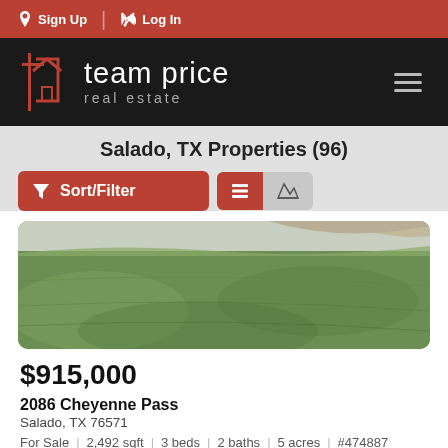Sign Up  Log In
[Figure (logo): Team Price Real Estate logo — house icon with cross/plus on black background, company name in white]
Salado, TX Properties (96)
[Figure (screenshot): Sort/Filter button and list/map view toggle buttons on gray background]
[Figure (photo): Outdoor photo of green lawn/grass field with a curved driveway or road visible at top]
$915,000
2086 Cheyenne Pass
Salado, TX 76571
For Sale  |  2,492 sqft  |  3 beds  |  2 baths  |  5 acres  |  #474887